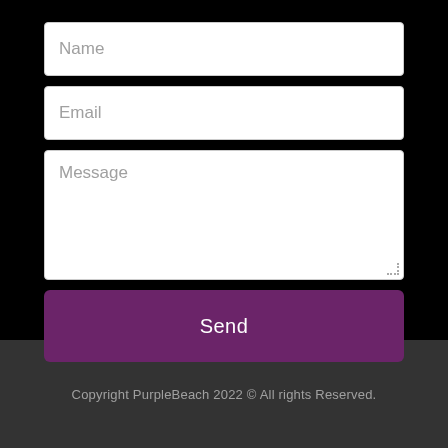[Figure (screenshot): Contact form with Name, Email, Message input fields and a purple Send button]
Copyright PurpleBeach 2022 © All rights Reserved.